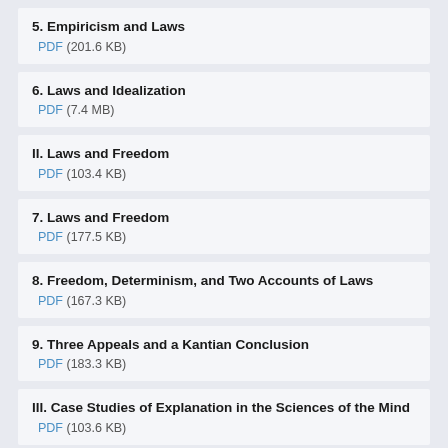5. Empiricism and Laws
PDF (201.6 KB)
6. Laws and Idealization
PDF (7.4 MB)
II. Laws and Freedom
PDF (103.4 KB)
7. Laws and Freedom
PDF (177.5 KB)
8. Freedom, Determinism, and Two Accounts of Laws
PDF (167.3 KB)
9. Three Appeals and a Kantian Conclusion
PDF (183.3 KB)
III. Case Studies of Explanation in the Sciences of the Mind
PDF (103.6 KB)